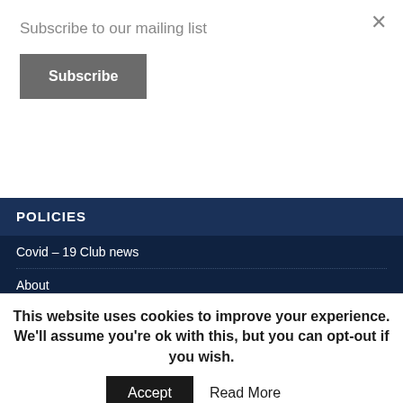Subscribe to our mailing list
Subscribe
POLICIES
Covid – 19 Club news
About
Club Subs
Club Rules
Site Policies
Privacy Policy
This website uses cookies to improve your experience. We'll assume you're ok with this, but you can opt-out if you wish.
Accept
Read More